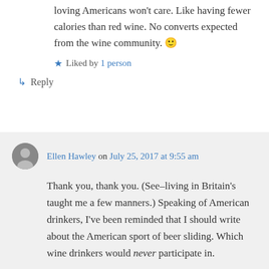loving Americans won't care. Like having fewer calories than red wine. No converts expected from the wine community. 🙂
Liked by 1 person
↳ Reply
Ellen Hawley on July 25, 2017 at 9:55 am
Thank you, thank you. (See–living in Britain's taught me a few manners.) Speaking of American drinkers, I've been reminded that I should write about the American sport of beer sliding. Which wine drinkers would never participate in.
Liked by 1 person